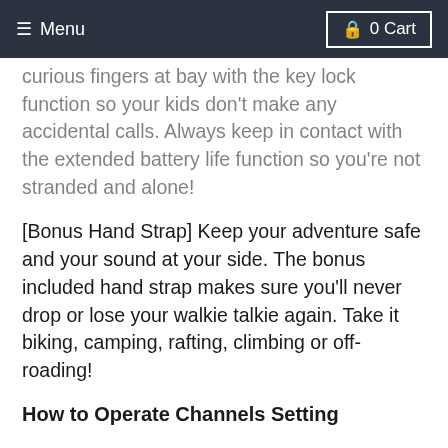≡ Menu   🔒 0 Cart
curious fingers at bay with the key lock function so your kids don't make any accidental calls. Always keep in contact with the extended battery life function so you're not stranded and alone!
[Bonus Hand Strap] Keep your adventure safe and your sound at your side. The bonus included hand strap makes sure you'll never drop or lose your walkie talkie again. Take it biking, camping, rafting, climbing or off-roading!
How to Operate Channels Setting
1. Press the Power/Menu button and the channel number on the screen will flash.